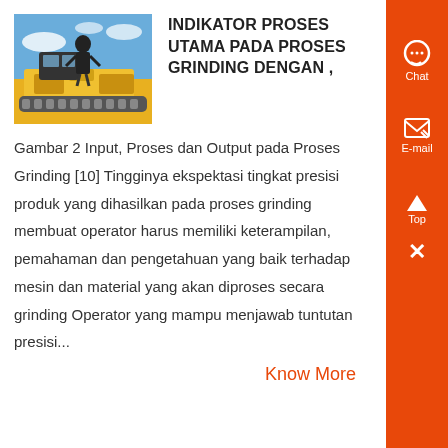[Figure (photo): Photo of a person standing on or near a large yellow industrial/mining machine against a blue sky background]
INDIKATOR PROSES UTAMA PADA PROSES GRINDING DENGAN ,
Gambar 2 Input, Proses dan Output pada Proses Grinding [10] Tingginya ekspektasi tingkat presisi produk yang dihasilkan pada proses grinding membuat operator harus memiliki keterampilan, pemahaman dan pengetahuan yang baik terhadap mesin dan material yang akan diproses secara grinding Operator yang mampu menjawab tuntutan presisi...
Know More